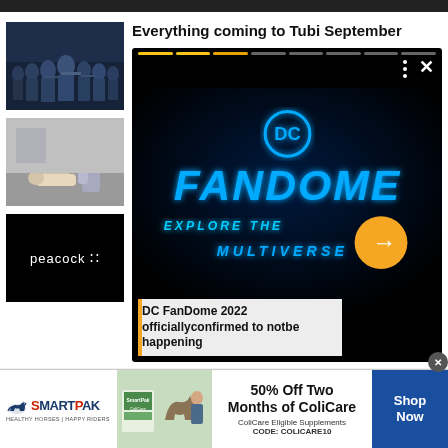[Figure (screenshot): Top black navigation bar of a website]
[Figure (photo): Group of action movie actors/characters in dark tactical gear - thumbnail]
[Figure (photo): Scene with two people, one lying down - thumbnail]
[Figure (logo): Peacock streaming service logo on black background - thumbnail]
Everything coming to Tubi September
[Figure (screenshot): DC FanDome 2022 video player showing DC FanDome Explore the Multiverse animated logo on dark background with progress bar, menu dots, and X close button. Play arrow button in orange circle.]
DC FanDome 2022 officiallyconfirmed to notbe happening
[Figure (infographic): SmartPak advertisement banner: 50% Off Two Months of ColiCare. ColiCare Eligible Supplements CODE: COLICARE10. Shop Now button. Shows horse and product image.]